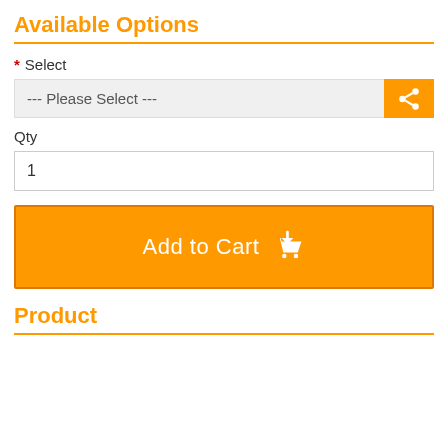Available Options
* Select
--- Please Select ---
Qty
1
Add to Cart
Product